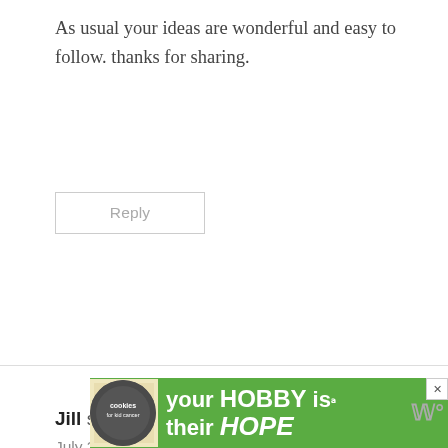As usual your ideas are wonderful and easy to follow. thanks for sharing.
Reply
Jill says:
July 28, 2011 at 8:31 pm
What a great idea! My husband even likes it, and that's saying something. I am bo[oking] this idea for later.
[Figure (screenshot): Share icon button (circular) and 'What's Next' promotional box showing 'Free Pumpkin Spice SVG']
[Figure (screenshot): Green advertisement banner: 'your HOBBY is their HOPE' with cookies for kids cancer logo and heart cookie image]